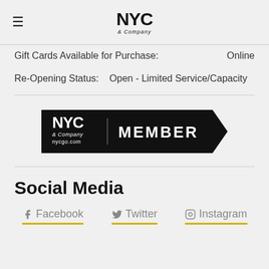NYC & Company
Gift Cards Available for Purchase: Online
Re-Opening Status: Open - Limited Service/Capacity
[Figure (logo): NYC & Company nycgo.com MEMBER badge on black background with banner shape]
Social Media
Facebook  Twitter  Instagram